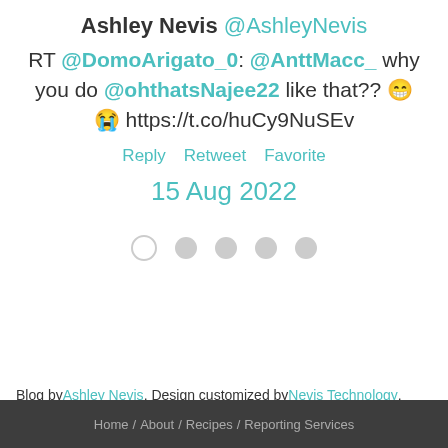Ashley Nevis @AshleyNevis RT @DomoArigato_0: @AnttMacc_ why you do @ohthatsNajee22 like that?? 😁 😭 https://t.co/huCy9NuSEv
Reply   Retweet   Favorite
15 Aug 2022
[Figure (other): Five dots in a row indicating pagination or slides; first dot is empty/outline, remaining four are filled grey]
Blog by Ashley Nevis. Design customized by Nevis Technology.
Home / About / Recipes / Reporting Services